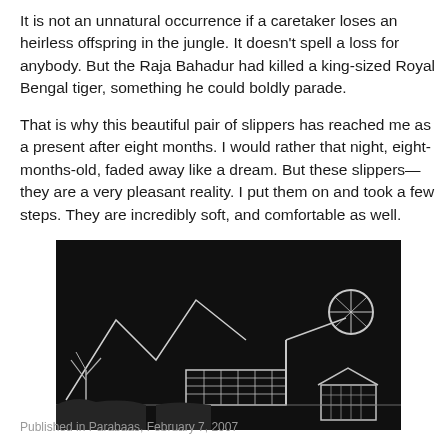It is not an unnatural occurrence if a caretaker loses an heirless offspring in the jungle. It doesn't spell a loss for anybody. But the Raja Bahadur had killed a king-sized Royal Bengal tiger, something he could boldly parade.
That is why this beautiful pair of slippers has reached me as a present after eight months. I would rather that night, eight-months-old, faded away like a dream. But these slippers—they are a very pleasant reality. I put them on and took a few steps. They are incredibly soft, and comfortable as well.
[Figure (illustration): Black and white illustration showing a dark scene with a house, mountains, and mechanical or architectural elements rendered in white lines on black background.]
Published in Parabaas, February 7, 2007